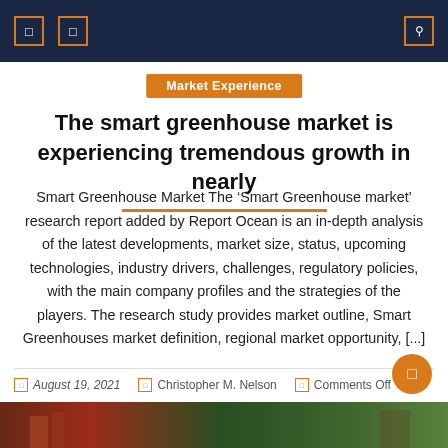Market Experience
The smart greenhouse market is experiencing tremendous growth in nearly
Smart Greenhouse Market The ‘Smart Greenhouse market’ research report added by Report Ocean is an in-depth analysis of the latest developments, market size, status, upcoming technologies, industry drivers, challenges, regulatory policies, with the main company profiles and the strategies of the players. The research study provides market outline, Smart Greenhouses market definition, regional market opportunity, [...]
August 19, 2021   Christopher M. Nelson   Comments Off